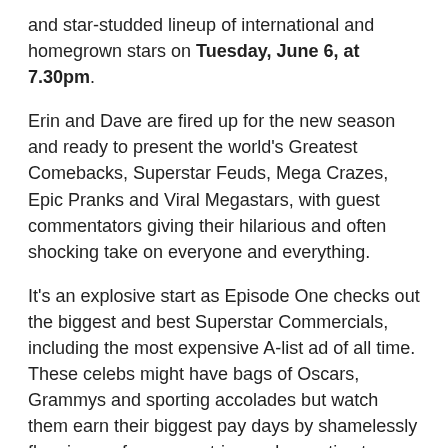and star-studded lineup of international and homegrown stars on Tuesday, June 6, at 7.30pm.
Erin and Dave are fired up for the new season and ready to present the world's Greatest Comebacks, Superstar Feuds, Mega Crazes, Epic Pranks and Viral Megastars, with guest commentators giving their hilarious and often shocking take on everyone and everything.
It's an explosive start as Episode One checks out the biggest and best Superstar Commercials, including the most expensive A-list ad of all time. These celebs might have bags of Oscars, Grammys and sporting accolades but watch them earn their biggest pay days by shamelessly flogging perfumes, pastries and even tiny teeny undies.
Nicole Kidman and Hugh Jackman will battle it out for the top spot with Brad Pitt, Taylor Swift and the cast of The Avengers. And look out for surprise contenders from